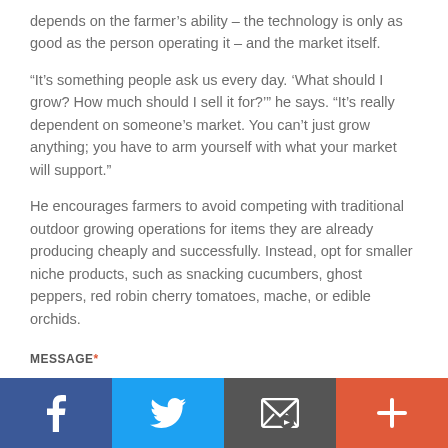depends on the farmer's ability – the technology is only as good as the person operating it – and the market itself.
“It’s something people ask us every day. ‘What should I grow? How much should I sell it for?’” he says. “It’s really dependent on someone’s market. You can’t just grow anything; you have to arm yourself with what your market will support.”
He encourages farmers to avoid competing with traditional outdoor growing operations for items they are already producing cheaply and successfully. Instead, opt for smaller niche products, such as snacking cucumbers, ghost peppers, red robin cherry tomatoes, mache, or edible orchids.
MESSAGE*
Social share bar with Facebook, Twitter, Email, and More buttons